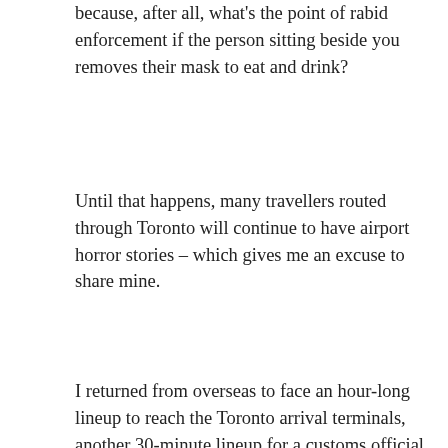because, after all, what's the point of rabid enforcement if the person sitting beside you removes their mask to eat and drink?
Until that happens, many travellers routed through Toronto will continue to have airport horror stories – which gives me an excuse to share mine.
I returned from overseas to face an hour-long lineup to reach the Toronto arrival terminals, another 30-minute lineup for a customs official to send me to “triage” for another COVID interrogation followed by another round of questions at Immigration culminating with a random COVID-19 test. Elapsed time: 2.5 hours – and that was before I joined a parade of passengers forced to leave the secure zone